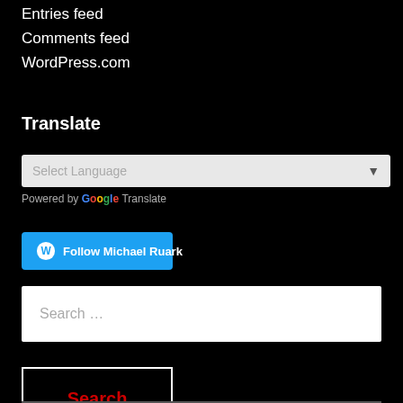Entries feed
Comments feed
WordPress.com
Translate
[Figure (screenshot): Select Language dropdown widget with 'Powered by Google Translate' below]
[Figure (screenshot): Follow Michael Ruark button with WordPress logo]
[Figure (screenshot): Search input field with placeholder 'Search ...']
[Figure (screenshot): Search button with red text on black background]